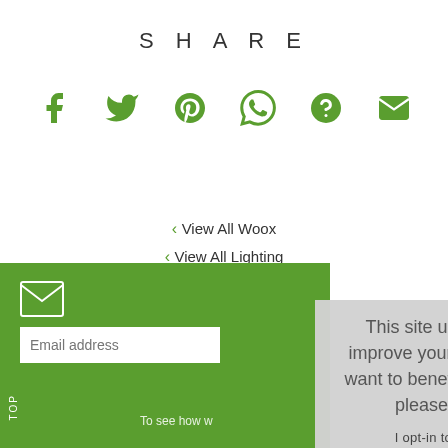SHARE
[Figure (infographic): Row of 6 social sharing icons in green: Facebook, Twitter, Pinterest, WhatsApp, Help/Question mark, Email]
View All Woox
View All Lighting
View All Woox Lighting
[Figure (screenshot): Green newsletter signup section with envelope icon and email address input field]
This site uses cookies to provide and improve your shopping experience. If you want to benefit from this improved service, please opt-in. Cookies Page.
I opt-in to a better browsing experience
ACCEPT COOKIES